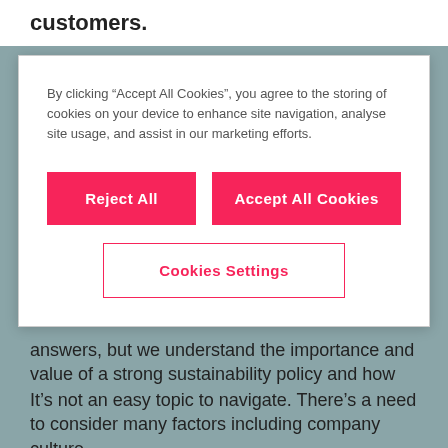customers.
By clicking “Accept All Cookies”, you agree to the storing of cookies on your device to enhance site navigation, analyse site usage, and assist in our marketing efforts.
Reject All
Accept All Cookies
Cookies Settings
answers, but we understand the importance and value of a strong sustainability policy and how that can, in turn, work to strengthen and maintain each company’s strong culture.
It’s not an easy topic to navigate. There’s a need to consider many factors including company culture,